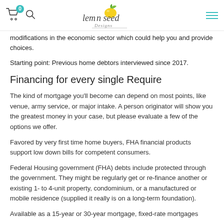lemon seed Designs — navigation header with cart, search, and menu
modifications in the economic sector which could help you and provide choices.
Starting point: Previous home debtors interviewed since 2017.
Financing for every single Require
The kind of mortgage you'll become can depend on most points, like venue, army service, or major intake. A person originator will show you the greatest money in your case, but please evaluate a few of the options we offer.
Favored by very first time home buyers, FHA financial products support low down bills for competent consumers.
Federal Housing government (FHA) debts include protected through the government. They might be regularly get or re-finance another or existing 1- to 4-unit property, condominium, or a manufactured or mobile residence (supplied it really is on a long-term foundation).
Available as a 15-year or 30-year mortgage, fixed-rate mortgages